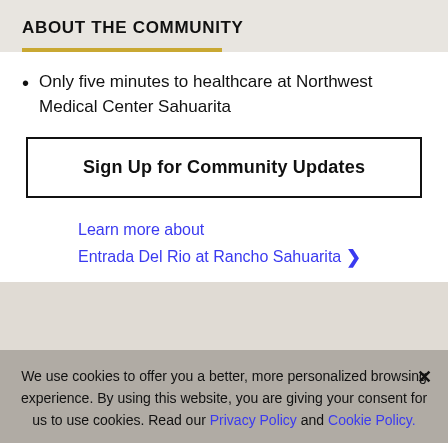ABOUT THE COMMUNITY
Only five minutes to healthcare at Northwest Medical Center Sahuarita
Sign Up for Community Updates
Learn more about Entrada Del Rio at Rancho Sahuarita ❯
We use cookies to offer you a better, more personalized browsing experience. By using this website, you are giving your consent for us to use cookies. Read our Privacy Policy and Cookie Policy.